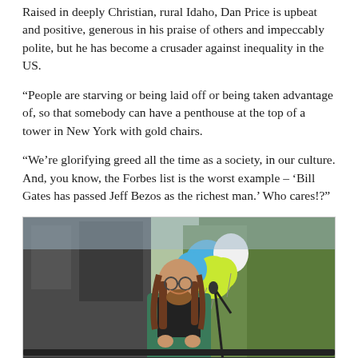Raised in deeply Christian, rural Idaho, Dan Price is upbeat and positive, generous in his praise of others and impeccably polite, but he has become a crusader against inequality in the US.
“People are starving or being laid off or being taken advantage of, so that somebody can have a penthouse at the top of a tower in New York with gold chairs.
“We’re glorifying greed all the time as a society, in our culture. And, you know, the Forbes list is the worst example – ‘Bill Gates has passed Jeff Bezos as the richest man.’ Who cares!?”
[Figure (photo): Dan Price speaking at an outdoor event, standing at a microphone with long hair and a green jacket, smiling, with colorful balloons (blue, white, yellow-green) and trees in the background.]